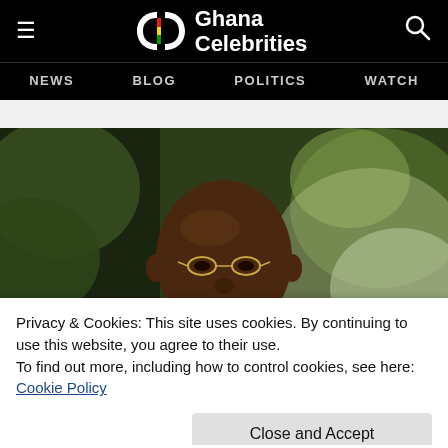Ghana Celebrities — NEWS  BLOG  POLITICS  WATCH
[Figure (photo): Portrait photo of a bald African man wearing glasses and a suit, smiling, with green foliage in the background]
Privacy & Cookies: This site uses cookies. By continuing to use this website, you agree to their use.
To find out more, including how to control cookies, see here:
Cookie Policy
Close and Accept